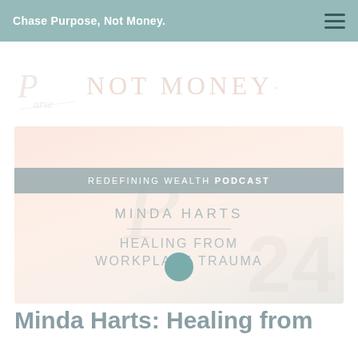Chase Purpose, Not Money.
[Figure (logo): Script logo with cursive text and 'NOT MONEY' wordmark in large serif letters]
[Figure (infographic): Podcast episode card with label 'REDEFINING WEALTH PODCAST', guest name 'MINDA HARTS', episode title 'HEALING FROM WORKPLACE TRAUMA', and a play button circle]
Minda Harts: Healing from